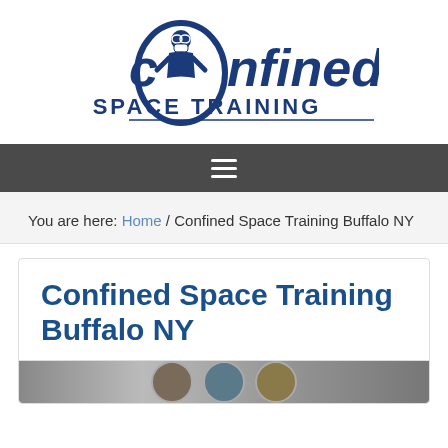[Figure (logo): Confined Space Training logo — dark blue stylized text 'confined SPACE TRAINING' with a figure wearing a hard hat and respirator mask inside the letter O]
≡
You are here: Home / Confined Space Training Buffalo NY
Confined Space Training Buffalo NY
[Figure (photo): Partial view of a photo strip at the bottom of the card, showing cropped images of people]